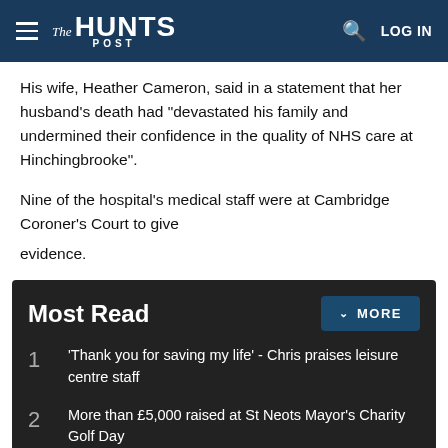The Hunts Post
His wife, Heather Cameron, said in a statement that her husband's death had "devastated his family and undermined their confidence in the quality of NHS care at Hinchingbrooke".
Nine of the hospital's medical staff were at Cambridge Coroner's Court to give evidence.
Most Read
1 'Thank you for saving my life' - Chris praises leisure centre staff
2 More than £5,000 raised at St Neots Mayor's Charity Golf Day